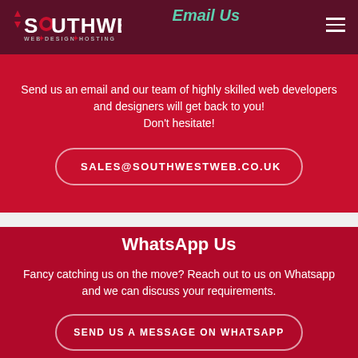Southwest Web Design & Hosting
Email Us
Send us an email and our team of highly skilled web developers and designers will get back to you! Don't hesitate!
SALES@SOUTHWESTWEB.CO.UK
WhatsApp Us
Fancy catching us on the move? Reach out to us on Whatsapp and we can discuss your requirements.
SEND US A MESSAGE ON WHATSAPP